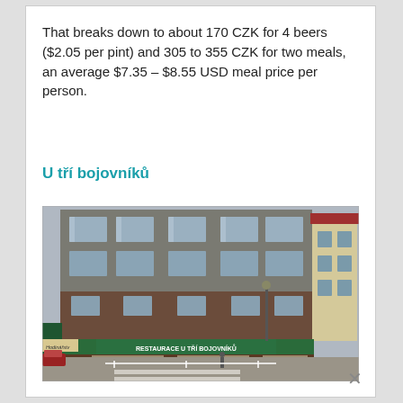That breaks down to about 170 CZK for 4 beers ($2.05 per pint) and 305 to 355 CZK for two meals, an average $7.35 – $8.55 USD meal price per person.
U tří bojovníků
[Figure (photo): Street-level photograph of the restaurant 'Restaurace U Tří Bojovníků' — a multi-storey brown/grey building with green awnings at ground level displaying the restaurant name, with a cobblestone square in the foreground.]